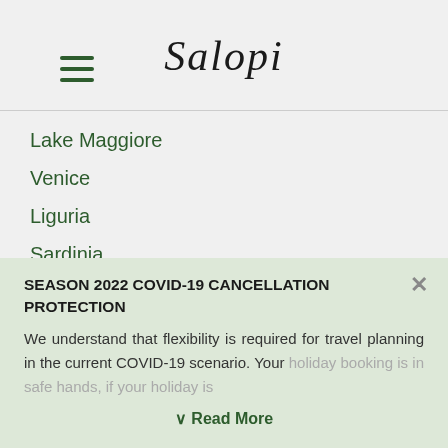[Figure (logo): Salopi handwritten script logo in black]
Lake Maggiore
Venice
Liguria
Sardinia
Arezzo & Cortona
Company
About Us
Privacy Policies
SEASON 2022 COVID-19 CANCELLATION PROTECTION
We understand that flexibility is required for travel planning in the current COVID-19 scenario. Your holiday booking is in safe hands, if your holiday is
✓ Read More